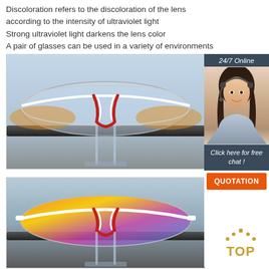Discoloration refers to the discoloration of the lens according to the intensity of ultraviolet light
Strong ultraviolet light darkens the lens color
A pair of glasses can be used in a variety of environments
[Figure (photo): Front view of clear/photochromic sports sunglasses with white and red frame, displayed on a stand, against a light blue-gray sky background]
[Figure (photo): 24/7 Online customer service panel with a smiling female agent wearing a headset, along with 'Click here for free chat!' text and an orange QUOTATION button]
[Figure (photo): Front view of mirrored/colored sports sunglasses with red and white frame showing vivid rainbow reflection, displayed on a stand, against a light sky background. A gold/orange TOP badge is visible in the lower right.]